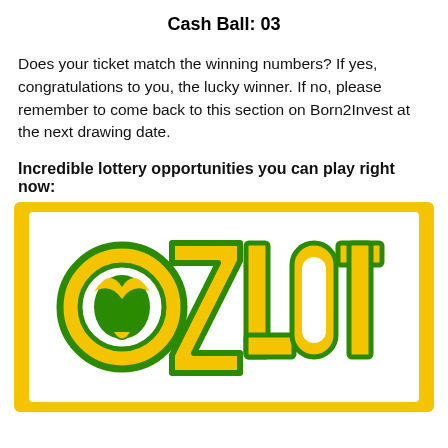Cash Ball: 03
Does your ticket match the winning numbers? If yes, congratulations to you, the lucky winner. If no, please remember to come back to this section on Born2Invest at the next drawing date.
Incredible lottery opportunities you can play right now:
[Figure (logo): Oz Lotto logo — large yellow letters 'OZ' with green bat-wing motif on the 'O', followed by 'LOTTO' in yellow with green outline, on a white background inside a yellow border frame.]